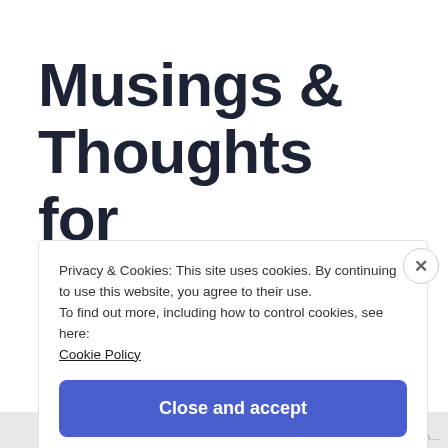Musings & Thoughts for Saturday,
Privacy & Cookies: This site uses cookies. By continuing to use this website, you agree to their use.
To find out more, including how to control cookies, see here:
Cookie Policy
Close and accept